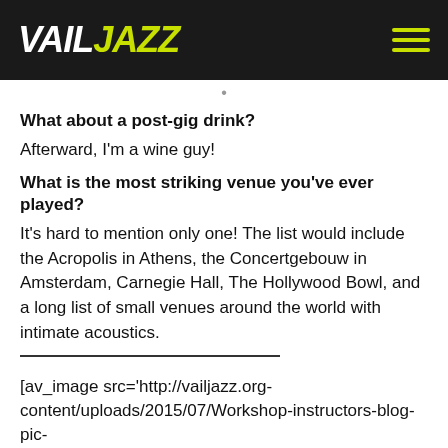VAILJAZZ
What about a post-gig drink?
Afterward, I'm a wine guy!
What is the most striking venue you've ever played?
It's hard to mention only one! The list would include the Acropolis in Athens, the Concertgebouw in Amsterdam, Carnegie Hall, The Hollywood Bowl, and a long list of small venues around the world with intimate acoustics.
[av_image src='http://vailjazz.org-content/uploads/2015/07/Workshop-instructors-blog-pic-